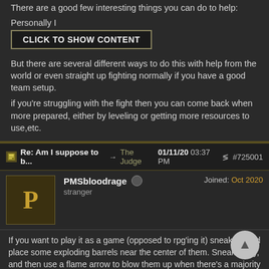There are a good few interesting things you can do to help:
Personally I
CLICK TO SHOW CONTENT
But there are several different ways to do this with help from the world or even straight up fighting normally if you have a good team setup.
if you're struggling with the fight then you can come back when more prepared, either by leveling or getting more resources to use,etc.
Re: Am I suppose to b... ➦ The Judge  01/11/20 03:37 PM  #725001
PMSbloodrage
stranger
Joined: Oct 2020
If you want to play it as a game (opposed to rpg'ing it) sneak up and place some exploding barrels near the center of them. Sneak away, and then use a flame arrow to blow them up when there's a majority of them grouped there. If you don't have a flame arrow, of course you can use a spell, but that will leave your caster as the primary target when battle starts. This should take out 4-5 of them if you position the barrels correctly and will also inflict burning on the ones that survive.